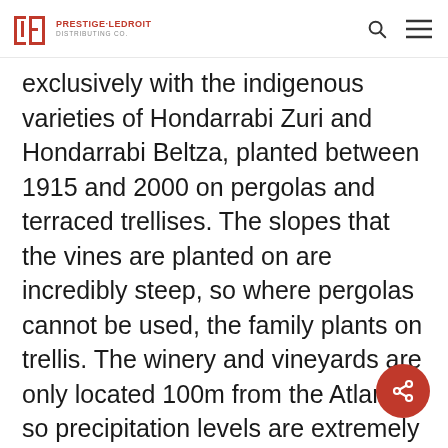PRESTIGE LEDROIT DISTRIBUTING CO.
exclusively with the indigenous varieties of Hondarrabi Zuri and Hondarrabi Beltza, planted between 1915 and 2000 on pergolas and terraced trellises. The slopes that the vines are planted on are incredibly steep, so where pergolas cannot be used, the family plants on trellis. The winery and vineyards are only located 100m from the Atlantic, so precipitation levels are extremely high. The must is fermented in stainless steel with